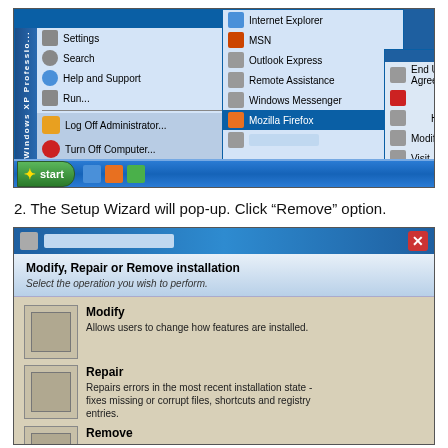[Figure (screenshot): Windows XP Start Menu showing Settings, Search, Help and Support, Run options on left, and submenu showing Internet Explorer, MSN, Outlook Express, Remote Assistance, Windows Messenger, Mozilla Firefox options, with a second submenu showing End User License Agreement, Help, Modify Repair or Remove, Visit Lab on the Web. Taskbar at bottom with Start button.]
2. The Setup Wizard will pop-up. Click “Remove” option.
[Figure (screenshot): Windows XP Setup Wizard dialog: Modify, Repair or Remove installation. Select the operation you wish to perform. Options: Modify (Allows users to change how features are installed.), Repair (Repairs errors in the most recent installation state - fixes missing or corrupt files, shortcuts and registry entries.), Remove (partially visible)]